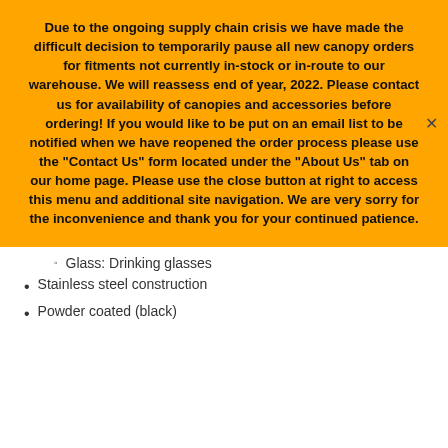Due to the ongoing supply chain crisis we have made the difficult decision to temporarily pause all new canopy orders for fitments not currently in-stock or in-route to our warehouse. We will reassess end of year, 2022. Please contact us for availability of canopies and accessories before ordering! If you would like to be put on an email list to be notified when we have reopened the order process please use the "Contact Us" form located under the "About Us" tab on our home page. Please use the close button at right to access this menu and additional site navigation. We are very sorry for the inconvenience and thank you for your continued patience.
Glass: Drinking glasses
Stainless steel construction
Powder coated (black)